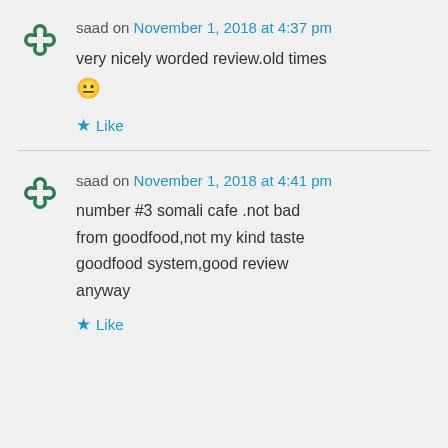saad on November 1, 2018 at 4:37 pm
very nicely worded review.old times 😐
Like
saad on November 1, 2018 at 4:41 pm
number #3 somali cafe .not bad from goodfood,not my kind taste goodfood system,good review anyway
Like